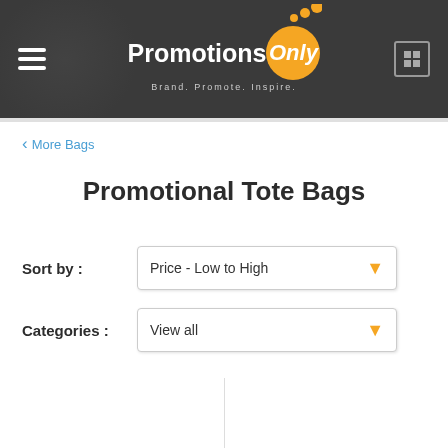[Figure (logo): PromotionsOnly logo with orange circle, hamburger menu icon on left, grid/bar icon on right, on dark grey header background]
< More Bags
Promotional Tote Bags
Sort by :
Price - Low to High
Categories :
View all